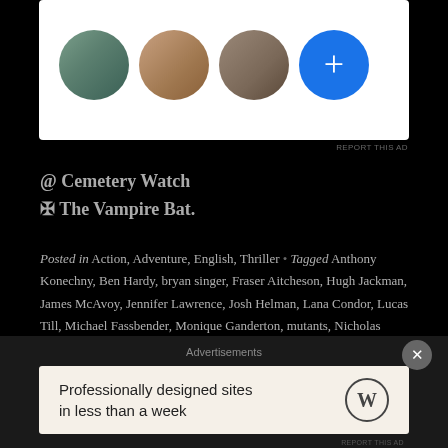[Figure (illustration): White ad card with three circular avatar photos and a blue plus button]
REPORT THIS AD
@ Cemetery Watch
✠ The Vampire Bat.
Posted in Action, Adventure, English, Thriller • Tagged Anthony Konechny, Ben Hardy, bryan singer, Fraser Aitcheson, Hugh Jackman, James McAvoy, Jennifer Lawrence, Josh Helman, Lana Condor, Lucas Till, Michael Fassbender, Monique Ganderton, mutants, Nicholas Hoult, Olivia Munn, Oscar Isaac, Rochelle Okoye, Rose Byrne, Sophie Turner, Tómas Lemarquis, Tye Sheridan, Warren Scherer, x-men, X-Men Apocalypse
Advertisements
[Figure (illustration): WordPress advertisement: Professionally designed sites in less than a week]
REPORT THIS AD